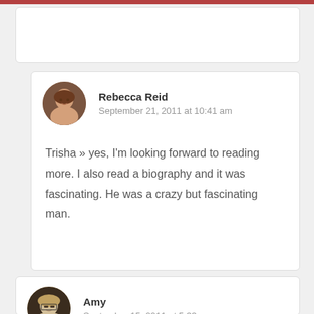Rebecca Reid
September 21, 2011 at 10:41 am
Trisha » yes, I'm looking forward to reading more. I also read a biography and it was fascinating. He was a crazy but fascinating man.
Amy
September 15, 2011 at 5:33 pm